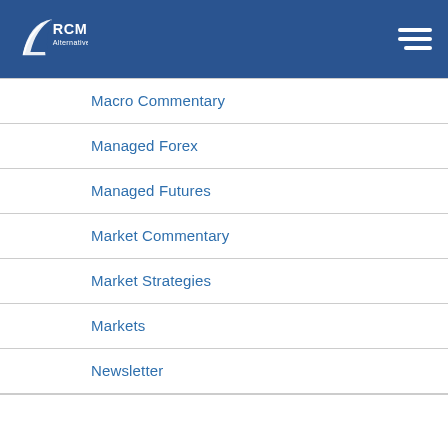[Figure (logo): RCM Alternatives logo — white stylized leaf/arrow icon with 'RCM Alternatives' text in white on dark blue header background]
Macro Commentary
Managed Forex
Managed Futures
Market Commentary
Market Strategies
Markets
Newsletter